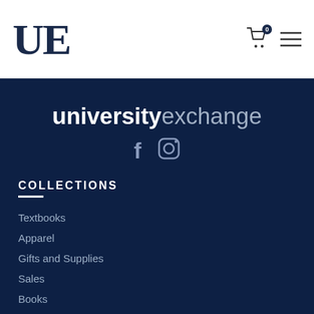UE
[Figure (logo): University Exchange UE logo in dark navy serif font]
universityexchange
[Figure (infographic): Facebook and Instagram social media icons in light gray]
COLLECTIONS
Textbooks
Apparel
Gifts and Supplies
Sales
Books
Trophy Coffee